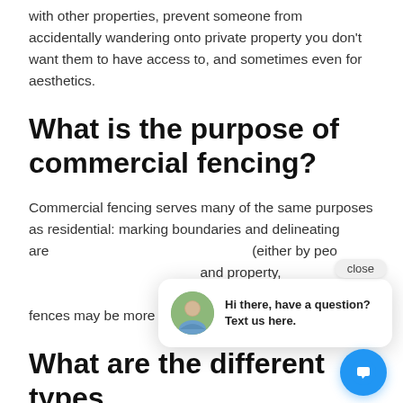with other properties, prevent someone from accidentally wandering onto private property you don't want them to have access to, and sometimes even for aesthetics.
What is the purpose of commercial fencing?
Commercial fencing serves many of the same purposes as residential: marking boundaries and delineating areas, preventing unwanted access (either by people or animals), protecting people and property, marking off hazardous areas, and even for aesthetics. Commercial fences may be more functional than decorative.
What are the different types